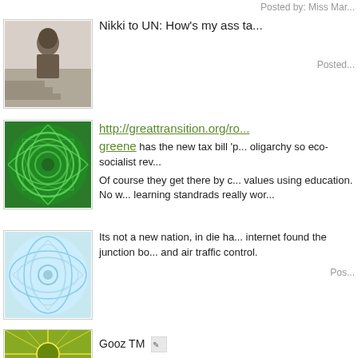Posted by: Miss Mar...
[Figure (photo): Avatar photo of a person sitting on stairs]
Nikki to UN: How's my ass ta...
Posted...
[Figure (illustration): Green spiral pattern avatar image]
http://greattransition.org/ro... greene has the new tax bill 'p... oligarchy so eco-socialist rev...
Of course they get there by c... values using education. No w... learning standrads really wor...
[Figure (illustration): Light blue abstract swirl pattern avatar image]
Its not a new nation, in die ha... internet found the junction bo... and air traffic control.
Pos...
[Figure (illustration): Green sunburst pattern avatar image]
Gooz TM